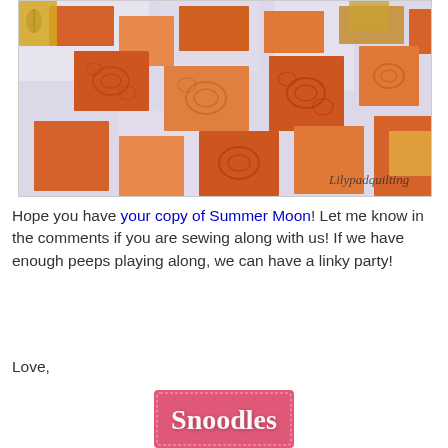[Figure (photo): Close-up photo of a quilt with orange, rust, and yellow fabric pieces arranged in a woven/interlocking pattern on a white background. The watermark 'Lilypadquilting' appears in the lower right corner.]
Hope you have your copy of Summer Moon! Let me know in the comments if you are sewing along with us! If we have enough peeps playing along, we can have a linky party!
Love,
[Figure (logo): Pink rectangular button/logo with the word 'Snoodles' written in a decorative script font.]